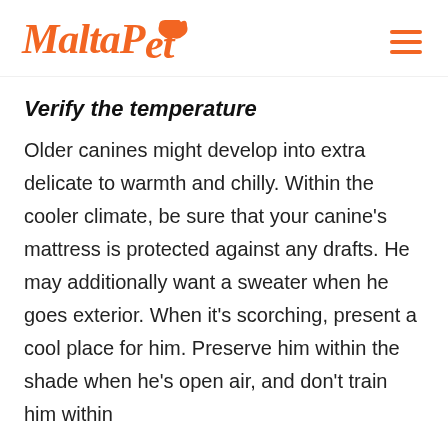MaltaPet
Verify the temperature
Older canines might develop into extra delicate to warmth and chilly. Within the cooler climate, be sure that your canine's mattress is protected against any drafts. He may additionally want a sweater when he goes exterior. When it's scorching, present a cool place for him. Preserve him within the shade when he's open air, and don't train him within